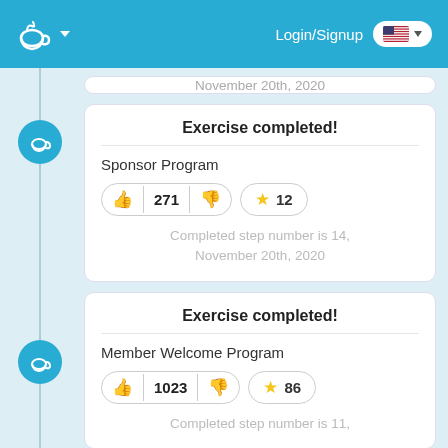Login/Signup
November 20th, 2020
Exercise completed!
Sponsor Program
271 | 12
Completed step number is 14, November 20th, 2020
Exercise completed!
Member Welcome Program
1023 | 86
Completed step number is 11,